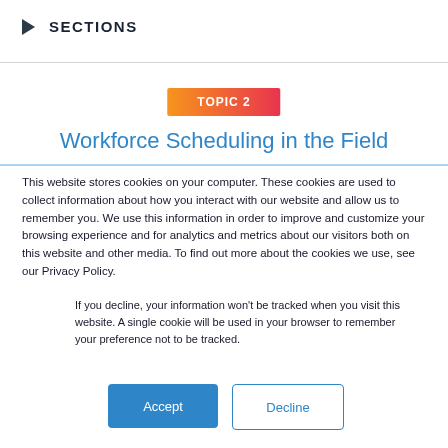▶ SECTIONS
TOPIC 2
Workforce Scheduling in the Field
This website stores cookies on your computer. These cookies are used to collect information about how you interact with our website and allow us to remember you. We use this information in order to improve and customize your browsing experience and for analytics and metrics about our visitors both on this website and other media. To find out more about the cookies we use, see our Privacy Policy.
If you decline, your information won't be tracked when you visit this website. A single cookie will be used in your browser to remember your preference not to be tracked.
Accept
Decline